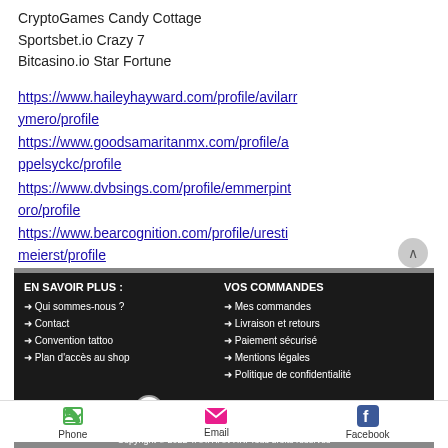CryptoGames Candy Cottage
Sportsbet.io Crazy 7
Bitcasino.io Star Fortune
https://www.haileyhayward.com/profile/avilarrymero/profile
https://www.goodsamaritanmx.com/profile/appelsyckc/profile
https://www.dvbsings.com/profile/emmerpintoro/profile
https://www.bearcognition.com/profile/urestimeierst/profile
EN SAVOIR PLUS : Qui sommes-nous ? Contact Convention tattoo Plan d'accès au shop Adhérent à la S.N.A.T | VOS COMMANDES Mes commandes Livraison et retours Paiement sécurisé Mentions légales Politique de confidentialité | Copyright © 2022 TAHITIAN HK. Tous droits réservés
Phone | Email | Facebook